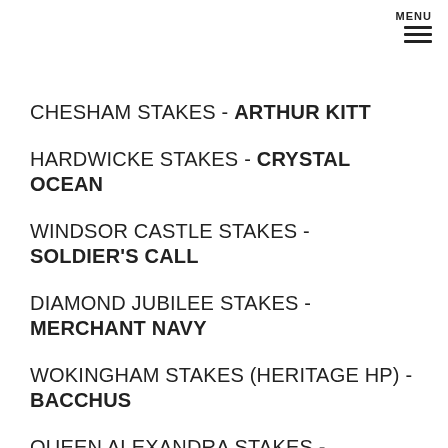MENU
CHESHAM STAKES - ARTHUR KITT
HARDWICKE STAKES - CRYSTAL OCEAN
WINDSOR CASTLE STAKES - SOLDIER'S CALL
DIAMOND JUBILEE STAKES - MERCHANT NAVY
WOKINGHAM STAKES (HERITAGE HP) - BACCHUS
QUEEN ALEXANDRA STAKES - PALLASATOR